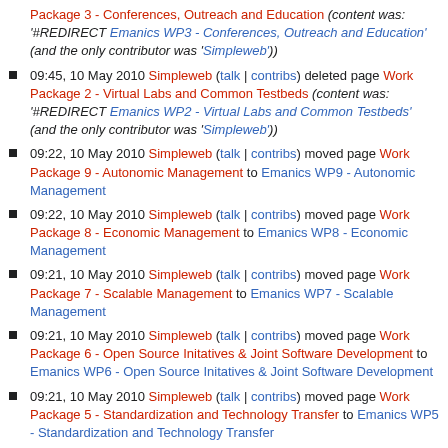Package 3 - Conferences, Outreach and Education (content was: '#REDIRECT Emanics WP3 - Conferences, Outreach and Education' (and the only contributor was 'Simpleweb'))
09:45, 10 May 2010 Simpleweb (talk | contribs) deleted page Work Package 2 - Virtual Labs and Common Testbeds (content was: '#REDIRECT Emanics WP2 - Virtual Labs and Common Testbeds' (and the only contributor was 'Simpleweb'))
09:22, 10 May 2010 Simpleweb (talk | contribs) moved page Work Package 9 - Autonomic Management to Emanics WP9 - Autonomic Management
09:22, 10 May 2010 Simpleweb (talk | contribs) moved page Work Package 8 - Economic Management to Emanics WP8 - Economic Management
09:21, 10 May 2010 Simpleweb (talk | contribs) moved page Work Package 7 - Scalable Management to Emanics WP7 - Scalable Management
09:21, 10 May 2010 Simpleweb (talk | contribs) moved page Work Package 6 - Open Source Initatives & Joint Software Development to Emanics WP6 - Open Source Initatives & Joint Software Development
09:21, 10 May 2010 Simpleweb (talk | contribs) moved page Work Package 5 - Standardization and Technology Transfer to Emanics WP5 - Standardization and Technology Transfer
09:21, 10 May 2010 Simpleweb (talk | contribs) moved page Work